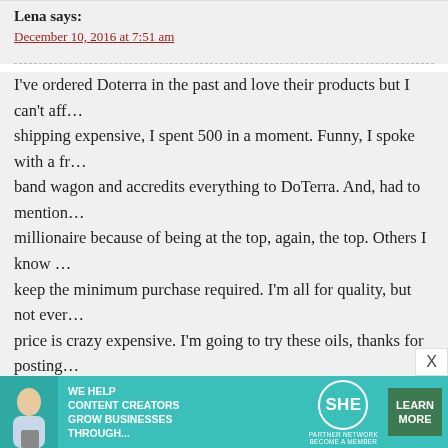Lena says:
December 10, 2016 at 7:51 am
I've ordered Doterra in the past and love their products but I can't aff… shipping expensive, I spent 500 in a moment. Funny, I spoke with a fr… band wagon and accredits everything to DoTerra. And, had to mention… millionaire because of being at the top, again, the top. Others I know … keep the minimum purchase required. I'm all for quality, but not ever… price is crazy expensive. I'm going to try these oils, thanks for posting
REPLY
Melissa says:
December 18, 2016 at 1:18 pm
The thing that bothers me about the DoTerra people is how AGGRES… questioned. and how overly defensive they are about the company. If … about it and freak out because someone is questioning something…
[Figure (other): Advertisement banner for SHE Media Partner Network: 'We help content creators grow businesses through...' with Learn More button]